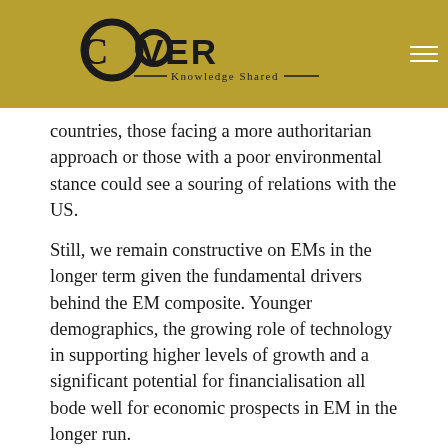COVER Knowledge Shared
countries, those facing a more authoritarian approach or those with a poor environmental stance could see a souring of relations with the US.
Still, we remain constructive on EMs in the longer term given the fundamental drivers behind the EM composite. Younger demographics, the growing role of technology in supporting higher levels of growth and a significant potential for financialisation all bode well for economic prospects in EM in the longer run.